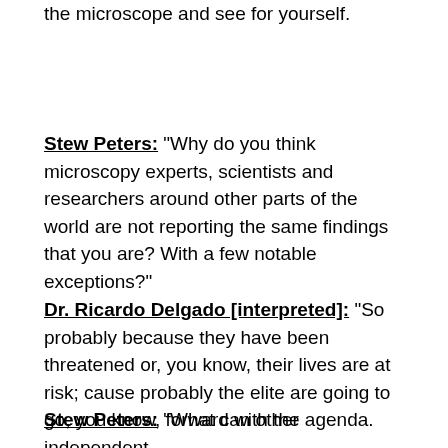the microscope and see for yourself.
Stew Peters: “Why do you think microscopy experts, scientists and researchers around other parts of the world are not reporting the same findings that you are? With a few notable exceptions?”
Dr. Ricardo Delgado [interpreted]: “So probably because they have been threatened or, you know, their lives are at risk; cause probably the elite are going to go, you know, forward with the agenda.
Stew Peters: “What can other independent scientists around the world do to help if they…